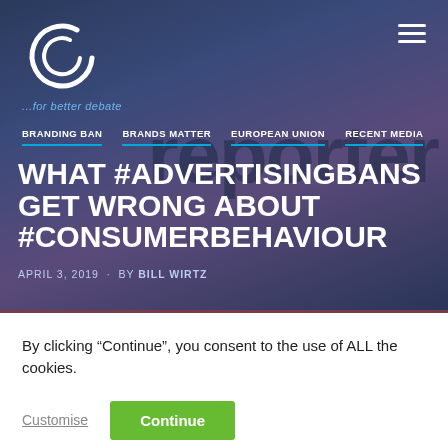[Figure (screenshot): Website header with dark blue/purple gradient background, circular 'C' logo on left, hamburger menu icon on right, navigation bar with links: BRANDING BAN, BRANDS MATTER, EUROPEAN UNION, RECENT MEDIA]
WHAT #ADVERTISINGBANS GET WRONG ABOUT #CONSUMERBEHAVIOUR
APRIL 3, 2019  ·  BY BILL WIRTZ
By clicking “Continue”, you consent to the use of ALL the cookies.
Customise
Continue